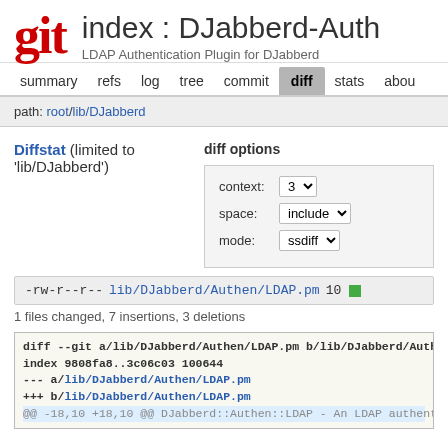git index : DJabberd-Auth
LDAP Authentication Plugin for DJabberd
summary  refs  log  tree  commit  diff  stats  abou
path: root/lib/DJabberd
Diffstat (limited to 'lib/DJabberd')  diff options
context: 3
space: include
mode: ssdiff
-rw-r--r-- lib/DJabberd/Authen/LDAP.pm 10
1 files changed, 7 insertions, 3 deletions
diff --git a/lib/DJabberd/Authen/LDAP.pm b/lib/DJabberd/Authen/LDAP
index 9808fa8..3c06c03 100644
--- a/lib/DJabberd/Authen/LDAP.pm
+++ b/lib/DJabberd/Authen/LDAP.pm
@@ -18,10 +18,10 @@ DJabberd::Authen::LDAP - An LDAP authentication